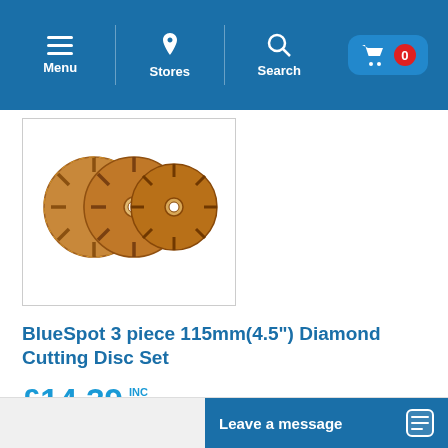Menu | Stores | Search | Cart 0
[Figure (photo): Three diamond cutting discs (gold/copper coloured) shown overlapping, 115mm diameter]
BlueSpot 3 piece 115mm(4.5") Diamond Cutting Disc Set
£14.39 INC VAT
COMING SOON.
Email when in stock
Add to Wish List
Leave a message